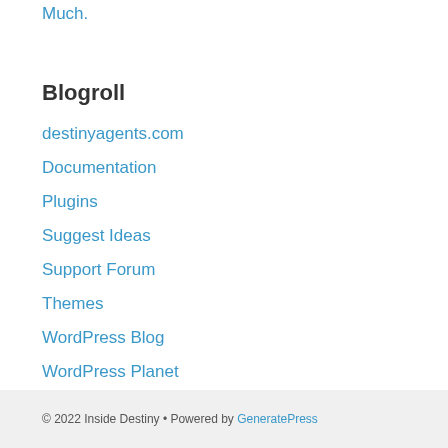Much.
Blogroll
destinyagents.com
Documentation
Plugins
Suggest Ideas
Support Forum
Themes
WordPress Blog
WordPress Planet
© 2022 Inside Destiny • Powered by GeneratePress